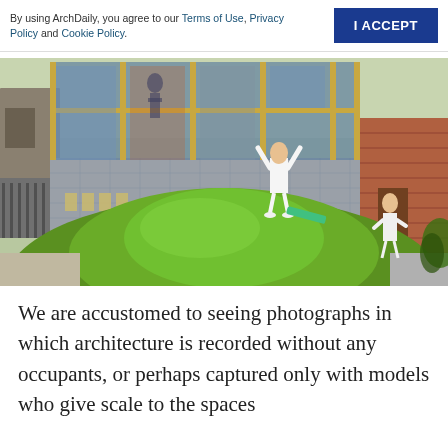By using ArchDaily, you agree to our Terms of Use, Privacy Policy and Cookie Policy. | I ACCEPT
[Figure (photo): Children playing on a grass mound in front of a modern building with large wood-framed windows. One child in white stands on top of the mound with arms raised, another child in white dress runs on the right side. The building has concrete block lower walls and glass upper facade reflecting a street scene.]
We are accustomed to seeing photographs in which architecture is recorded without any occupants, or perhaps captured only with models who give scale to the spaces